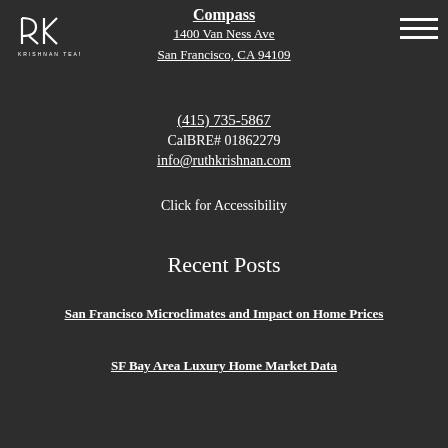[Figure (logo): Krishnan Team logo with stylized RK monogram]
Compass
1400 Van Ness Ave
San Francisco, CA 94109
(415) 735-5867
CalBRE# 01862279
info@ruthkrishnan.com
Click for Accessibility
Recent Posts
San Francisco Microclimates and Impact on Home Prices
SF Bay Area Luxury Home Market Data